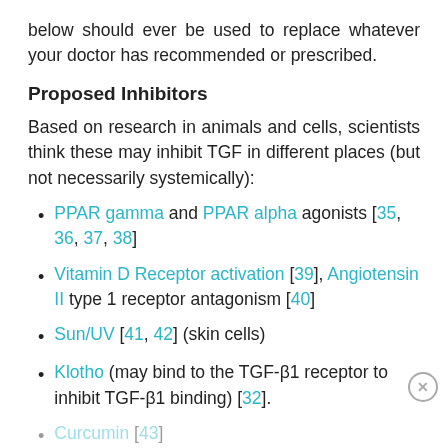below should ever be used to replace whatever your doctor has recommended or prescribed.
Proposed Inhibitors
Based on research in animals and cells, scientists think these may inhibit TGF in different places (but not necessarily systemically):
PPAR gamma and PPAR alpha agonists [35, 36, 37, 38]
Vitamin D Receptor activation [39], Angiotensin II type 1 receptor antagonism [40]
Sun/UV [41, 42] (skin cells)
Klotho (may bind to the TGF-β1 receptor to inhibit TGF-β1 binding) [32].
Curcumin [43]
Black Cumin Seed Oil /Thymoquinone [44] (rat